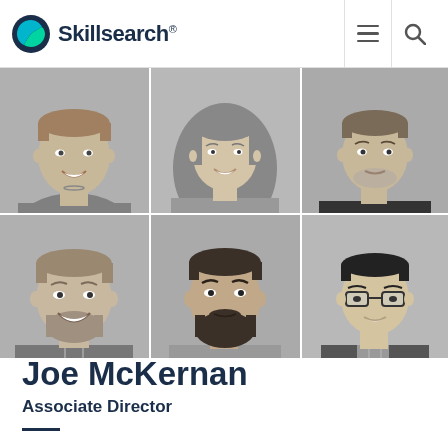Skillsearch®
[Figure (photo): 6 black and white headshot photos in a 3x2 grid: top row - young man in grey t-shirt, young woman with long hair in patterned top, young man in dark t-shirt; bottom row - smiling man with beard in plaid shirt, man with dark beard in grey top, Asian man with glasses in vest]
Joe McKernan
Associate Director